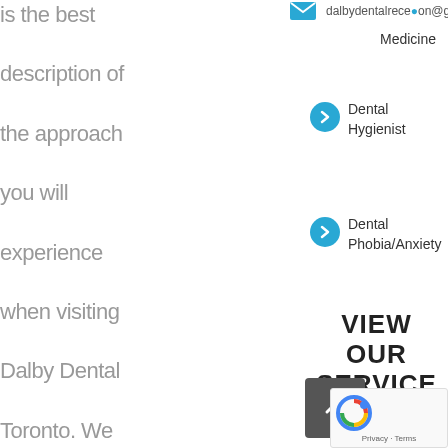is the best description of the approach you will experience when visiting Dalby Dental Toronto. We believe our patients need to feel valued and can expect
dalbydentalreception@gmail.com
Medicine
Dental Hygienist
Dental Phobia/Anxiety
VIEW OUR SERVICE